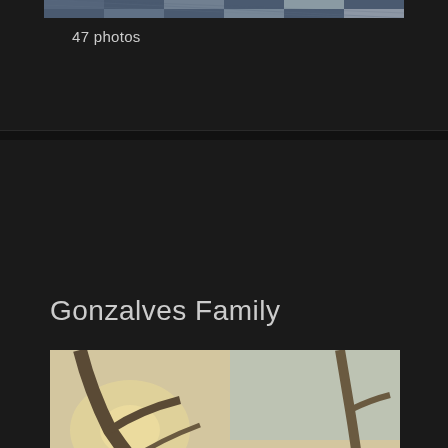[Figure (photo): Partial photo strip at top of card, showing fabric/textile pattern in blue and gray tones]
47 photos
Gonzalves Family
[Figure (photo): Outdoor family portrait of the Gonzalves family — two parents and three children sitting on a log in a park with bare trees and grass in the background, warm golden-hour lighting]